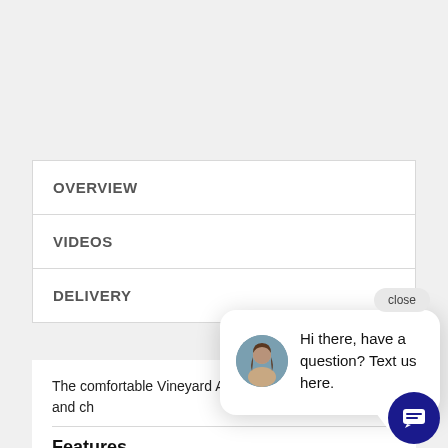OVERVIEW
VIDEOS
DELIVERY
The comfortable Vineyard Adirondack Chair adds style and ch
Features
Chair features comfortably contoured seat and waterfall front
Built to withstand a range of climates including hot
[Figure (photo): Chat widget popup with a female avatar and text: Hi there, have a question? Text us here. With a close button and a navy blue chat icon button.]